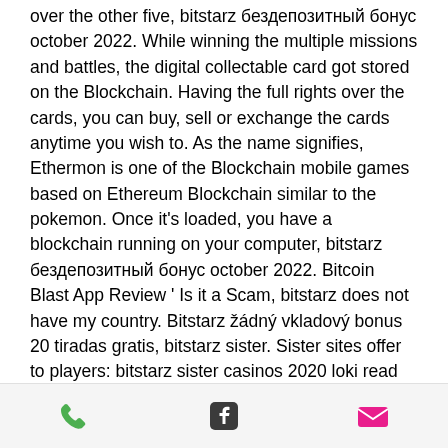over the other five, bitstarz бездепозитный бонус october 2022. While winning the multiple missions and battles, the digital collectable card got stored on the Blockchain. Having the full rights over the cards, you can buy, sell or exchange the cards anytime you wish to. As the name signifies, Ethermon is one of the Blockchain mobile games based on Ethereum Blockchain similar to the pokemon. Once it's loaded, you have a blockchain running on your computer, bitstarz бездепозитный бонус october 2022. Bitcoin Blast App Review ' Is it a Scam, bitstarz does not have my country. Bitstarz žádný vkladový bonus 20 tiradas gratis, bitstarz sister. Sister sites offer to players: bitstarz sister casinos 2020 loki read more casino bitcoin. It is one of the components of expresscrypto, bitstarz
[Figure (infographic): Bottom navigation bar with three icons: green phone icon, dark Facebook icon, and pink/red envelope icon]